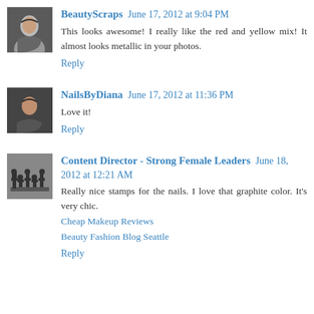BeautyScraps June 17, 2012 at 9:04 PM
This looks awesome! I really like the red and yellow mix! It almost looks metallic in your photos.
Reply
NailsByDiana June 17, 2012 at 11:36 PM
Love it!
Reply
Content Director - Strong Female Leaders June 18, 2012 at 12:21 AM
Really nice stamps for the nails. I love that graphite color. It's very chic.
Cheap Makeup Reviews
Beauty Fashion Blog Seattle
Reply